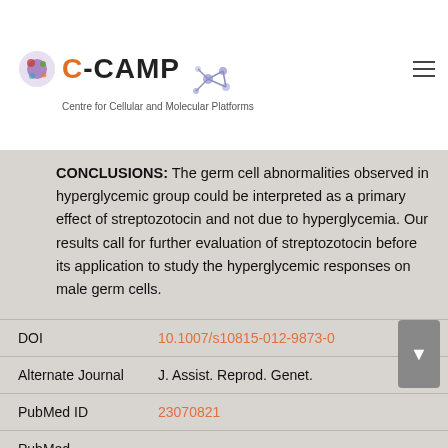[Figure (logo): C-CAMP logo with cell icon and molecule illustration, subtitle: Centre for Cellular and Molecular Platforms]
CONCLUSIONS: The germ cell abnormalities observed in hyperglycemic group could be interpreted as a primary effect of streptozotocin and not due to hyperglycemia. Our results call for further evaluation of streptozotocin before its application to study the hyperglycemic responses on male germ cells.
| DOI | 10.1007/s10815-012-9873-0 |
| Alternate Journal | J. Assist. Reprod. Genet. |
| PubMed ID | 23070821 |
| PubMed |  |